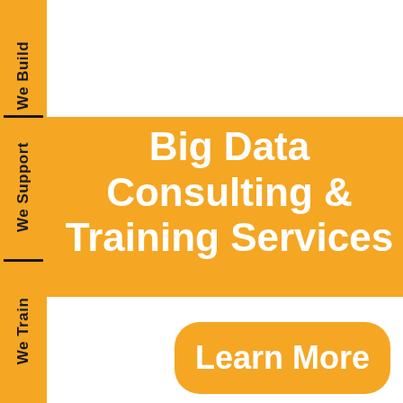Big Data Consulting & Training Services
Learn More
[Figure (infographic): Left sidebar with orange background divided into three segments by black divider lines, each with rotated black bold text reading 'We Build', 'We Support', 'We Train' respectively.]